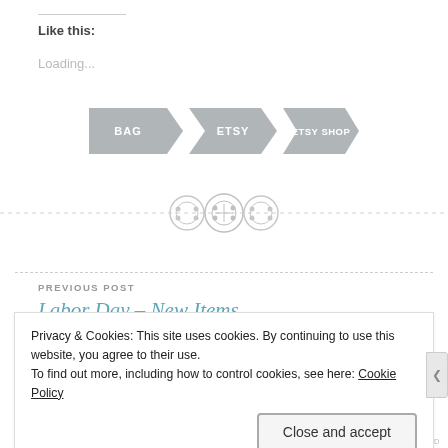Like this:
Loading...
[Figure (other): Three arrow-shaped tag buttons labeled BAG, ETSY, ETSY SHOP in gray]
[Figure (other): Decorative dashed divider with three button/circle icons in the center]
PREVIOUS POST
Labor Day – New Items
Privacy & Cookies: This site uses cookies. By continuing to use this website, you agree to their use.
To find out more, including how to control cookies, see here: Cookie Policy
Close and accept
REPORT THIS AD